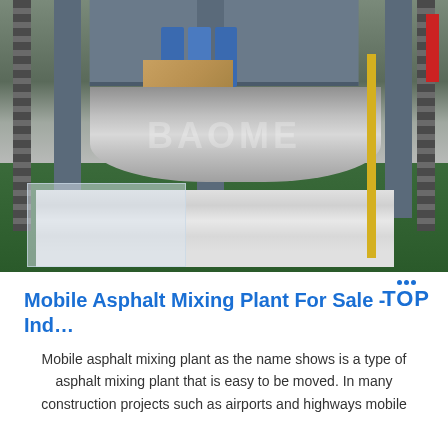[Figure (photo): Factory interior showing industrial machinery with blue pipes/cylinders, a wooden block, metal sheet rollers, stacked metal sheets wrapped in plastic, chain conveyors on the sides, green flooring, and a yellow safety stripe. A watermark reading 'BAOMEI' or similar is overlaid on the image.]
Mobile Asphalt Mixing Plant For Sale - Ind...
Mobile asphalt mixing plant as the name shows is a type of asphalt mixing plant that is easy to be moved. In many construction projects such as airports and highways mobile